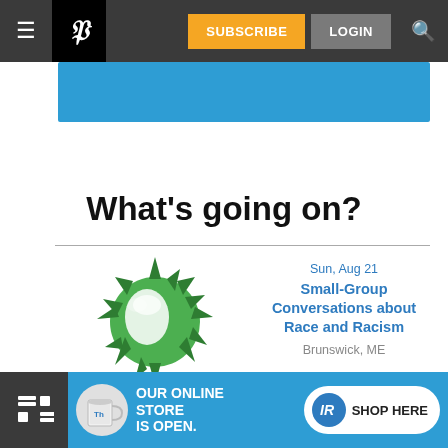P | SUBSCRIBE | LOGIN
[Figure (screenshot): Blue banner/advertisement strip below navigation bar]
What's going on?
[Figure (illustration): Green globe with leaf/hands decoration - event thumbnail for Small-Group Conversations about Race and Racism]
Sun, Aug 21
Small-Group Conversations about Race and Racism
Brunswick, ME
[Figure (photo): Forest trail with a sign/banner in the woods - event thumbnail for Storybook Trails in the Estuary]
Sun, Aug 21 @9:00am
Storybook Trails in the Estuary
Sewall Woods Preserve
[Figure (infographic): Blue advertisement banner: OUR ONLINE STORE IS OPEN. with mug image and SHOP HERE badge]